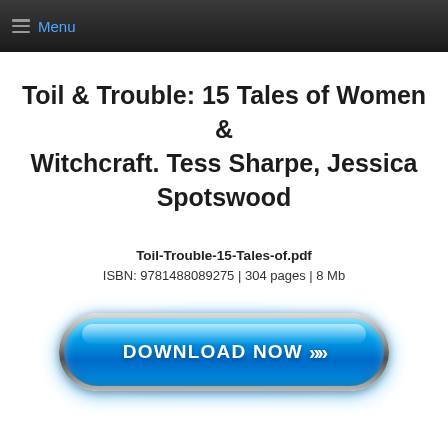Menu
Toil & Trouble: 15 Tales of Women & Witchcraft. Tess Sharpe, Jessica Spotswood
Toil-Trouble-15-Tales-of.pdf
ISBN: 9781488089275 | 304 pages | 8 Mb
[Figure (other): Blue glossy Download Now button with double chevron arrows, metallic outer ring, and blue glow effect]